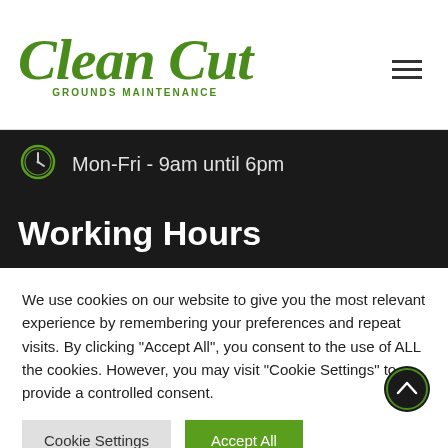[Figure (logo): Clean Cut Grounds Maintenance logo in green italic script font with 'GROUNDS MAINTENANCE' in small caps below]
[Figure (other): Hamburger menu icon (three horizontal lines)]
Mon-Fri - 9am until 6pm
Working Hours
We use cookies on our website to give you the most relevant experience by remembering your preferences and repeat visits. By clicking "Accept All", you consent to the use of ALL the cookies. However, you may visit "Cookie Settings" to provide a controlled consent.
Cookie Settings
Accept All